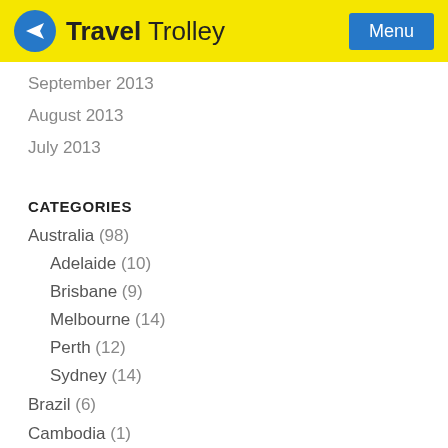Travel Trolley
September 2013
August 2013
July 2013
CATEGORIES
Australia (98)
Adelaide (10)
Brisbane (9)
Melbourne (14)
Perth (12)
Sydney (14)
Brazil (6)
Cambodia (1)